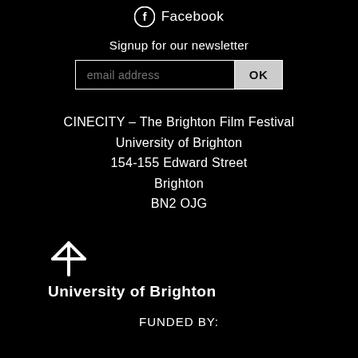[Figure (logo): Facebook logo icon (circle with f) followed by text 'Facebook']
Signup for our newsletter
[Figure (other): Email address input field with OK button]
CINECITY - The Brighton Film Festival
University of Brighton
154-155 Edward Street
Brighton
BN2 OJG
[Figure (logo): University of Brighton logo: asterisk/snowflake star icon above bold text 'University of Brighton']
FUNDED BY: